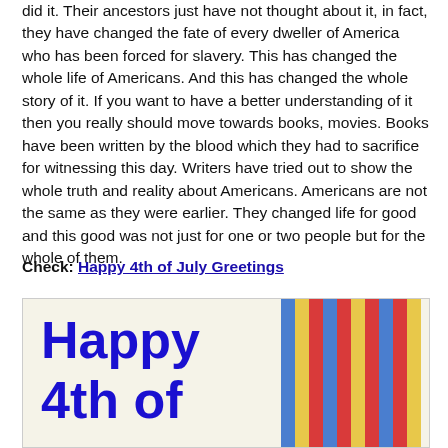did it. Their ancestors just have not thought about it, in fact, they have changed the fate of every dweller of America who has been forced for slavery. This has changed the whole life of Americans. And this has changed the whole story of it. If you want to have a better understanding of it then you really should move towards books, movies. Books have been written by the blood which they had to sacrifice for witnessing this day. Writers have tried out to show the whole truth and reality about Americans. Americans are not the same as they were earlier. They changed life for good and this good was not just for one or two people but for the whole of them.
Check: Happy 4th of July Greetings
[Figure (illustration): A greeting card image with 'Happy 4th of' written in bold dark blue text on a cream/beige background, with vertical colored stripes (blue, gold/yellow, red) on the right side.]